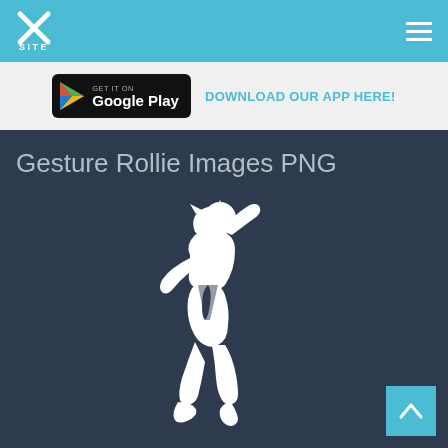XSITE
GET IT ON Google Play — DOWNLOAD OUR APP HERE!
Gesture Rollie Images PNG
[Figure (illustration): White silhouette of a dancing character (Rollie gesture) on a dark blue-grey background]